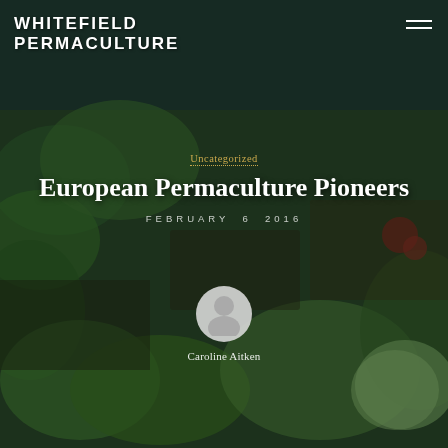[Figure (photo): Background photo of vegetables and plants in wooden crates/boxes with dark green overlay, outdoor permaculture garden setting]
WHITEFIELD PERMACULTURE
Uncategorized
European Permaculture Pioneers
FEBRUARY 6, 2016
[Figure (illustration): Circular avatar icon showing a generic person/user silhouette in light grey]
Caroline Aitken